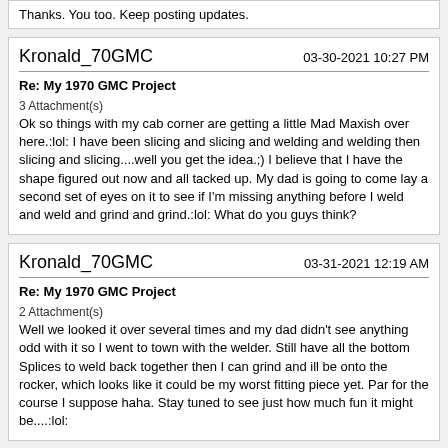Thanks. You too. Keep posting updates.
Kronald_70GMC
03-30-2021 10:27 PM
Re: My 1970 GMC Project
3 Attachment(s)
Ok so things with my cab corner are getting a little Mad Maxish over here.:lol: I have been slicing and slicing and welding and welding then slicing and slicing....well you get the idea.;) I believe that I have the shape figured out now and all tacked up. My dad is going to come lay a second set of eyes on it to see if I'm missing anything before I weld and weld and grind and grind.:lol: What do you guys think?
Kronald_70GMC
03-31-2021 12:19 AM
Re: My 1970 GMC Project
2 Attachment(s)
Well we looked it over several times and my dad didn't see anything odd with it so I went to town with the welder. Still have all the bottom Splices to weld back together then I can grind and ill be onto the rocker, which looks like it could be my worst fitting piece yet. Par for the course I suppose haha. Stay tuned to see just how much fun it might be....:lol: